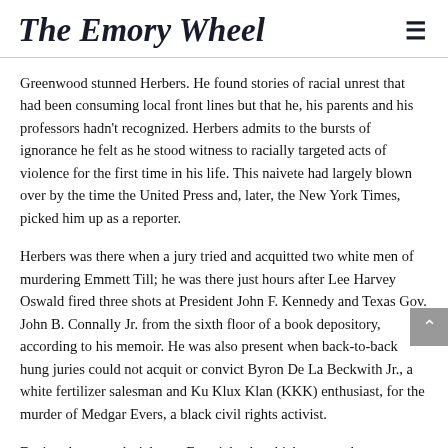The Emory Wheel
Greenwood stunned Herbers. He found stories of racial unrest that had been consuming local front lines but that he, his parents and his professors hadn't recognized. Herbers admits to the bursts of ignorance he felt as he stood witness to racially targeted acts of violence for the first time in his life. This naivete had largely blown over by the time the United Press and, later, the New York Times, picked him up as a reporter.
Herbers was there when a jury tried and acquitted two white men of murdering Emmett Till; he was there just hours after Lee Harvey Oswald fired three shots at President John F. Kennedy and Texas Gov. John B. Connally Jr. from the sixth floor of a book depository, according to his memoir. He was also present when back-to-back hung juries could not acquit or convict Byron De La Beckwith Jr., a white fertilizer salesman and Ku Klux Klan (KKK) enthusiast, for the murder of Medgar Evers, a black civil rights activist.
During the second trial over Evers' death, which garnered